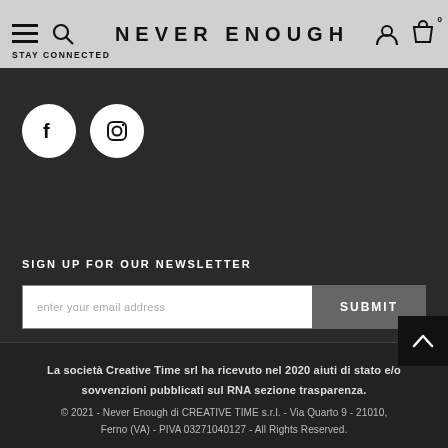NEVER  ENOUGH
STAY CONNECTED
[Figure (illustration): Social media icons: Facebook circle icon and Instagram circle icon on dark background]
SIGN UP FOR OUR NEWSLETTER
enter your email address   SUBMIT
La società Creative Time srl ha ricevuto nel 2020 aiuti di stato e/o sovvenzioni pubblicati sul RNA sezione trasparenza.
© 2021 - Never Enough di CREATIVE TIME s.r.l. - Via Quarto 9 - 21010, Ferno (VA) - PIVA 03271040127 - All Rights Reserved.